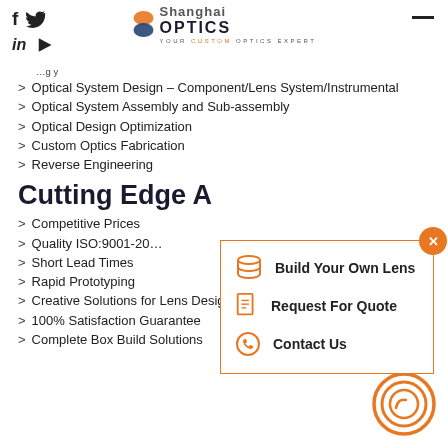Shanghai Optics — YOUR CUSTOM OPTICS EXPERT
Optical System Design – Component/Lens System/Instrumental
Optical System Assembly and Sub-assembly
Optical Design Optimization
Custom Optics Fabrication
Reverse Engineering
Cutting Edge A
Competitive Prices
Quality ISO:9001-20…
Short Lead Times
Rapid Prototyping
Creative Solutions for Lens Design and Or
100% Satisfaction Guarantee
Complete Box Build Solutions
[Figure (infographic): Popup dialog with orange border showing: Build Your Own Lens, Request For Quote, Contact Us with icons; orange X close button top-right]
[Figure (illustration): Orange concentric circles spiral widget in bottom-right corner]